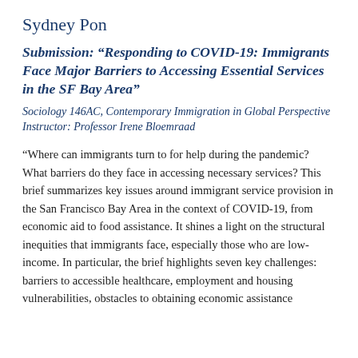Sydney Pon
Submission: “Responding to COVID-19: Immigrants Face Major Barriers to Accessing Essential Services in the SF Bay Area”
Sociology 146AC, Contemporary Immigration in Global Perspective Instructor: Professor Irene Bloemraad
“Where can immigrants turn to for help during the pandemic? What barriers do they face in accessing necessary services? This brief summarizes key issues around immigrant service provision in the San Francisco Bay Area in the context of COVID-19, from economic aid to food assistance. It shines a light on the structural inequities that immigrants face, especially those who are low-income. In particular, the brief highlights seven key challenges: barriers to accessible healthcare, employment and housing vulnerabilities, obstacles to obtaining economic assistance